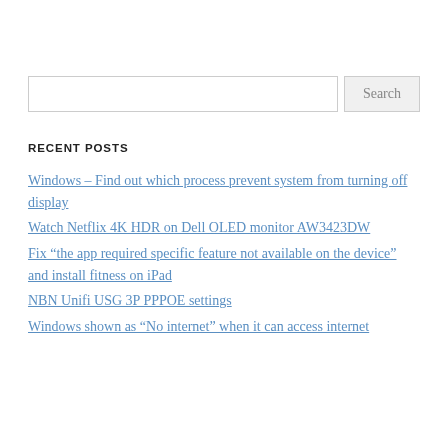RECENT POSTS
Windows – Find out which process prevent system from turning off display
Watch Netflix 4K HDR on Dell OLED monitor AW3423DW
Fix “the app required specific feature not available on the device” and install fitness on iPad
NBN Unifi USG 3P PPPOE settings
Windows shown as “No internet” when it can access internet